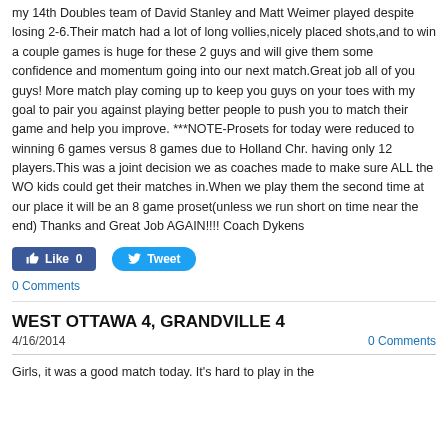my 14th Doubles team of David Stanley and Matt Weimer played despite losing 2-6.Their match had a lot of long vollies,nicely placed shots,and to win a couple games is huge for these 2 guys and will give them some confidence and momentum going into our next match.Great job all of you guys! More match play coming up to keep you guys on your toes with my goal to pair you against playing better people to push you to match their game and help you improve. ***NOTE-Prosets for today were reduced to winning 6 games versus 8 games due to Holland Chr. having only 12 players.This was a joint decision we as coaches made to make sure ALL the WO kids could get their matches in.When we play them the second time at our place it will be an 8 game proset(unless we run short on time near the end) Thanks and Great Job AGAIN!!!! Coach Dykens
[Figure (other): Facebook Like button showing Like 0, and Twitter Tweet button]
0 Comments
WEST OTTAWA 4, GRANDVILLE 4
4/16/2014
0 Comments
Girls, it was a good match today. It's hard to play in the